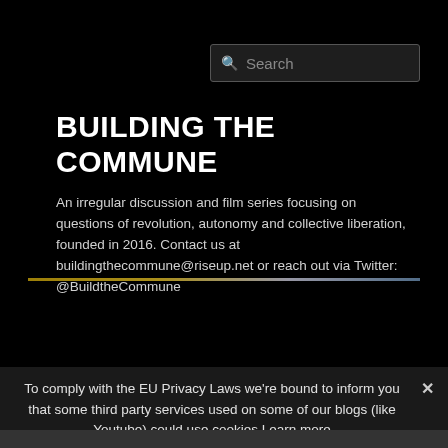Search
BUILDING THE COMMUNE
An irregular discussion and film series focusing on questions of revolution, autonomy and collective liberation, founded in 2016. Contact us at buildingthecommune@riseup.net or reach out via Twitter: @BuildtheCommune
To comply with the EU Privacy Laws we're bound to inform you that some third party services used on some of our blogs (like Youtube) could use cookies Learn more